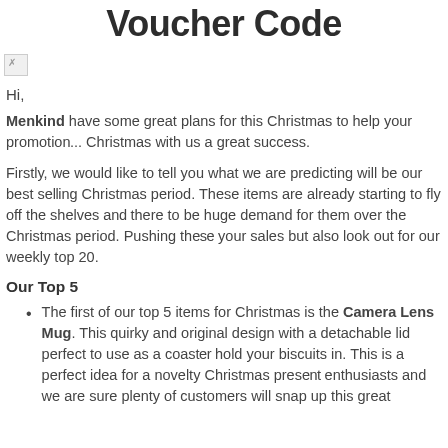Voucher Code
[Figure (photo): Small broken image icon in top-left area below title]
Hi,
Menkind have some great plans for this Christmas to help your promotion... Christmas with us a great success.
Firstly, we would like to tell you what we are predicting will be our best se... Christmas period. These items are already starting to fly off the shelves a... there to be huge demand for them over the Christmas period. Pushing th... your sales but also look out for our weekly top 20.
Our Top 5
The first of our top 5 items for Christmas is the Camera Lens Mug. Thi... quirky and original design with a detachable lid perfect to use as a coas... hold your biscuits in. This is a perfect idea for a novelty Christmas pres... enthusiasts and we are sure plenty of customers will snap up this grea...